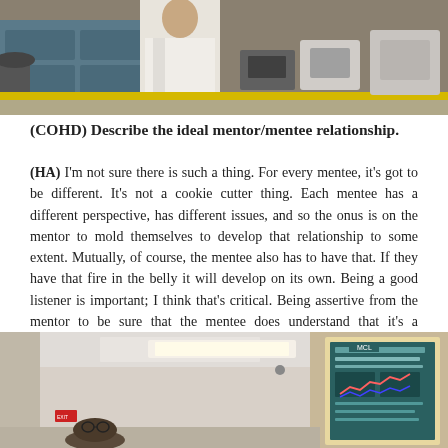[Figure (photo): Photograph of a person wearing a white lab coat standing at a blue laboratory bench with equipment and yellow countertop edge visible.]
(COHD) Describe the ideal mentor/mentee relationship.
(HA) I'm not sure there is such a thing. For every mentee, it's got to be different. It's not a cookie cutter thing. Each mentee has a different perspective, has different issues, and so the onus is on the mentor to mold themselves to develop that relationship to some extent. Mutually, of course, the mentee also has to have that. If they have that fire in the belly it will develop on its own. Being a good listener is important; I think that's critical. Being assertive from the mentor to be sure that the mentee does understand that it's a relationship that can evolve from being mentor/mentee, could be a friendship that can evolve over time. It's not always going to be the same.
[Figure (photo): Photograph of a person in a corridor or hallway, looking at a large scientific poster board mounted on the wall. A fluorescent light is visible on the ceiling.]